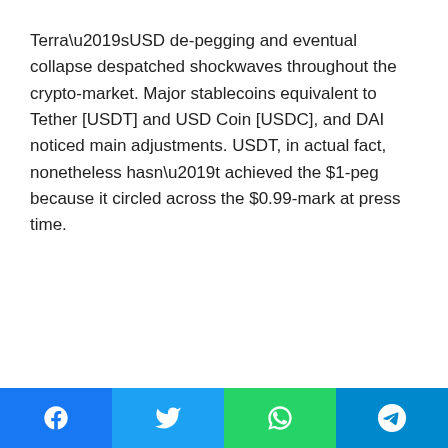Terra’sUSD de-pegging and eventual collapse despatched shockwaves throughout the crypto-market. Major stablecoins equivalent to Tether [USDT] and USD Coin [USDC], and DAI noticed main adjustments. USDT, in actual fact, nonetheless hasn’t achieved the $1-peg because it circled across the $0.99-mark at press time.
[Figure (other): Social sharing bar with Facebook, Twitter, WhatsApp, and Telegram buttons]